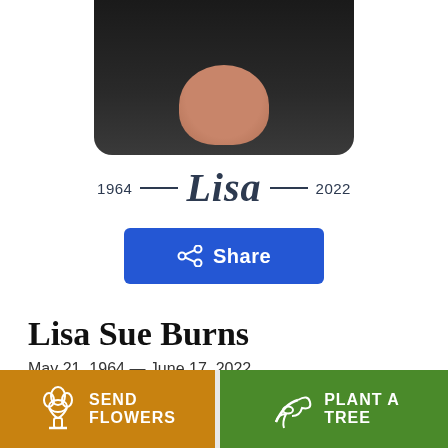[Figure (photo): Portrait photo of Lisa Sue Burns, partially visible, dark background]
1964 — Lisa — 2022
Share
Lisa Sue Burns
May 21, 1964 — June 17, 2022
SEND FLOWERS
PLANT A TREE